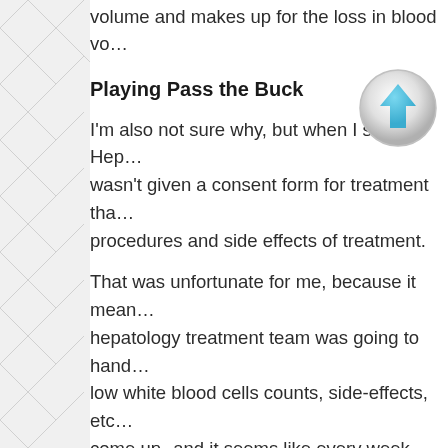volume and makes up for the loss in blood vo…
Playing Pass the Buck
[Figure (illustration): A circular button with a light grey/silver border and gradient, containing a blue upward-pointing arrow icon in the center.]
I'm also not sure why, but when I started Hep… I wasn't given a consent form for treatment tha… procedures and side effects of treatment.
That was unfortunate for me, because it mean… hepatology treatment team was going to hand… low white blood cells counts, side-effects, etc… come up--and it seems like every week somet… I spent a lot of time and energy bringing my c… hepatology team's attention.
From there, sometime they handle the proble…